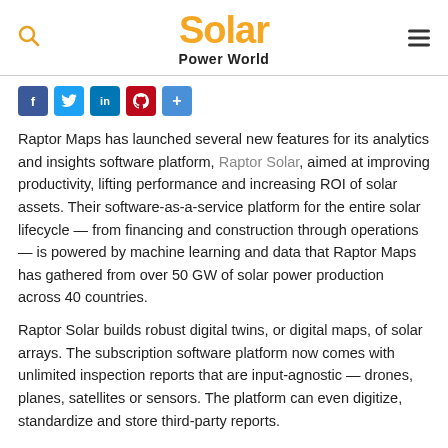Solar Power World
[Figure (infographic): Social share buttons: Facebook, Twitter, LinkedIn, Pinterest, Share]
Raptor Maps has launched several new features for its analytics and insights software platform, Raptor Solar, aimed at improving productivity, lifting performance and increasing ROI of solar assets. Their software-as-a-service platform for the entire solar lifecycle — from financing and construction through operations — is powered by machine learning and data that Raptor Maps has gathered from over 50 GW of solar power production across 40 countries.
Raptor Solar builds robust digital twins, or digital maps, of solar arrays. The subscription software platform now comes with unlimited inspection reports that are input-agnostic — drones, planes, satellites or sensors. The platform can even digitize, standardize and store third-party reports.